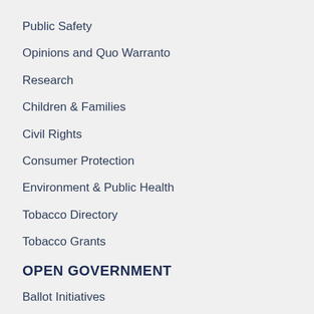Public Safety
Opinions and Quo Warranto
Research
Children & Families
Civil Rights
Consumer Protection
Environment & Public Health
Tobacco Directory
Tobacco Grants
OPEN GOVERNMENT
Ballot Initiatives
Conflicts of Interest
Criminal Justice Statistics